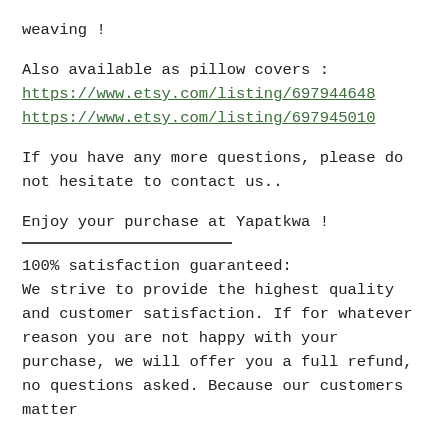weaving !
Also available as pillow covers :
https://www.etsy.com/listing/697944648
https://www.etsy.com/listing/697945010
If you have any more questions, please do not hesitate to contact us..
Enjoy your purchase at Yapatkwa !
100% satisfaction guaranteed:
We strive to provide the highest quality and customer satisfaction. If for whatever reason you are not happy with your purchase, we will offer you a full refund, no questions asked. Because our customers matter